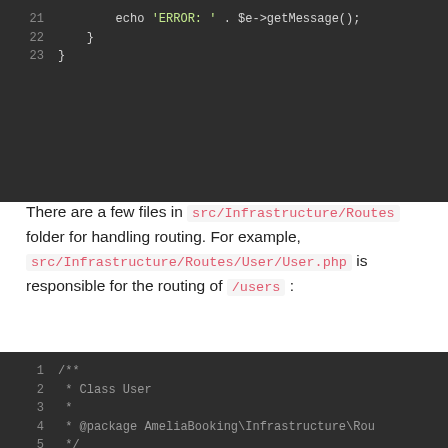[Figure (screenshot): Code block showing PHP lines 21-23: echo 'ERROR: ' . $e->getMessage(); closing braces]
There are a few files in src/Infrastructure/Routes folder for handling routing. For example, src/Infrastructure/Routes/User/User.php is responsible for the routing of /users :
[Figure (screenshot): Code block showing PHP class User lines 1-8: PHPDoc comment with @package AmeliaBooking\Infrastructure\Rou..., class User declaration, opening brace, and start of another PHPDoc]